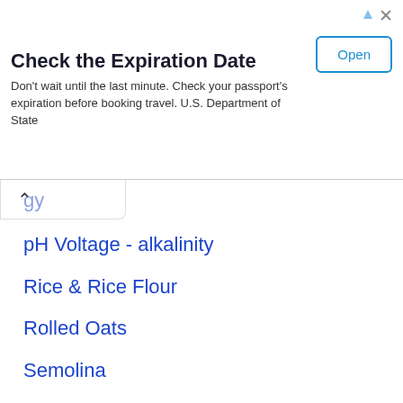[Figure (other): Advertisement banner: 'Check the Expiration Date' - Don't wait until the last minute. Check your passport's expiration before booking travel. U.S. Department of State. With an 'Open' button.]
pH Voltage - alkalinity
Rice & Rice Flour
Rolled Oats
Semolina
Sugar amounts
Yeast Equivalents
Yogurt
Temperature
Scoops sizes